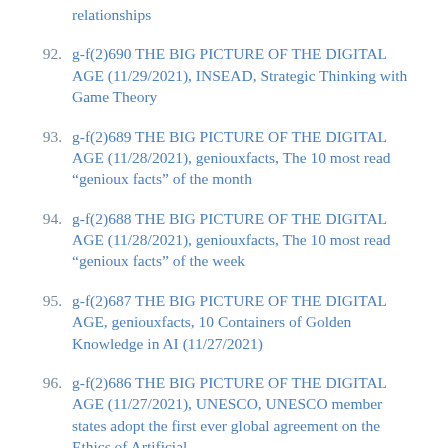relationships
92. g-f(2)690 THE BIG PICTURE OF THE DIGITAL AGE (11/29/2021), INSEAD, Strategic Thinking with Game Theory
93. g-f(2)689 THE BIG PICTURE OF THE DIGITAL AGE (11/28/2021), geniouxfacts, The 10 most read "genioux facts" of the month
94. g-f(2)688 THE BIG PICTURE OF THE DIGITAL AGE (11/28/2021), geniouxfacts, The 10 most read "genioux facts" of the week
95. g-f(2)687 THE BIG PICTURE OF THE DIGITAL AGE, geniouxfacts, 10 Containers of Golden Knowledge in AI (11/27/2021)
96. g-f(2)686 THE BIG PICTURE OF THE DIGITAL AGE (11/27/2021), UNESCO, UNESCO member states adopt the first ever global agreement on the Ethics of Artificial